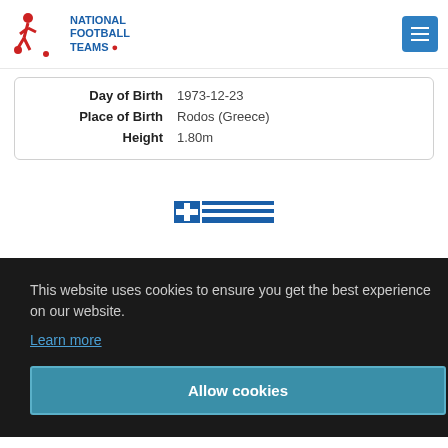National Football Teams
| Field | Value |
| --- | --- |
| Day of Birth | 1973-12-23 |
| Place of Birth | Rodos (Greece) |
| Height | 1.80m |
This website uses cookies to ensure you get the best experience on our website.
Learn more
Allow cookies
| Field | Value |
| --- | --- |
| Non-FIFA Goals | - |